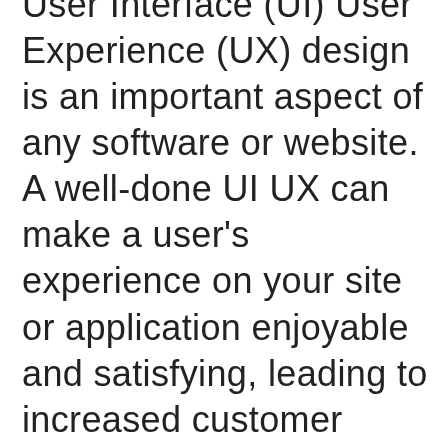User Interface (UI) User Experience (UX) design is an important aspect of any software or website. A well-done UI UX can make a user's experience on your site or application enjoyable and satisfying, leading to increased customer loyalty and even higher conversion rates. However, designing a great UI UX can be difficult, especially if you don't have experience in the field. Here are some tips to help you ensure that your UI UX is well-designed: 1. Take your time designing your user interface. It's important to spend time imagining how users will interact with your